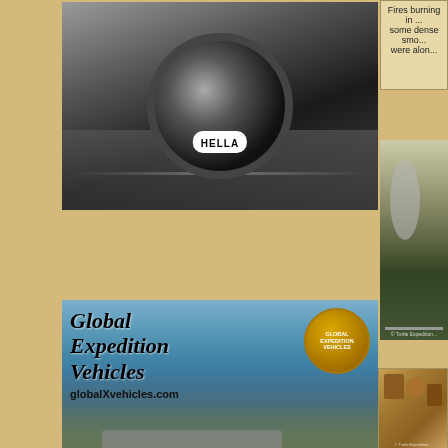[Figure (photo): Hella brand LED spotlight advertisement showing a round LED light against a road/asphalt background with Hella logo]
[Figure (photo): Global Expedition Vehicles advertisement with text 'Global Expedition Vehicles globalXvehicles.com' over a blue sky and mountain background with a military truck]
[Figure (photo): WARN brand advertisement with red W logo, WARN text, and 'GO PREPARED' tagline over dark off-road background]
Fires burning in ... some dense smo... were alon...
[Figure (photo): Photo of a fire burning alongside a road with smoke and trees, watermarked '© Turtle Expedition']
[Figure (photo): Photo of wicker baskets and woven goods displayed at what appears to be a market, watermarked '© Turtle Expedition']